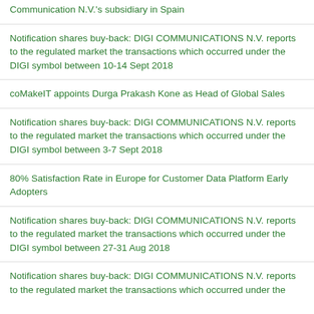Communication N.V.'s subsidiary in Spain
Notification shares buy-back: DIGI COMMUNICATIONS N.V. reports to the regulated market the transactions which occurred under the DIGI symbol between 10-14 Sept 2018
coMakeIT appoints Durga Prakash Kone as Head of Global Sales
Notification shares buy-back: DIGI COMMUNICATIONS N.V. reports to the regulated market the transactions which occurred under the DIGI symbol between 3-7 Sept 2018
80% Satisfaction Rate in Europe for Customer Data Platform Early Adopters
Notification shares buy-back: DIGI COMMUNICATIONS N.V. reports to the regulated market the transactions which occurred under the DIGI symbol between 27-31 Aug 2018
Notification shares buy-back: DIGI COMMUNICATIONS N.V. reports to the regulated market the transactions which occurred under the